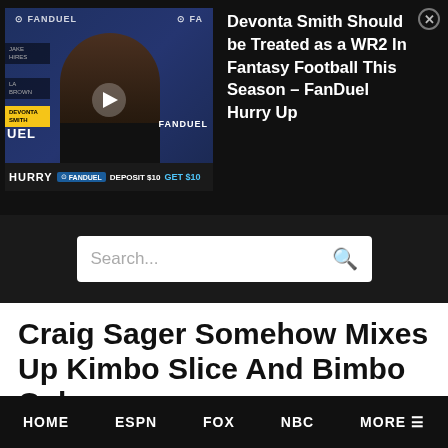[Figure (screenshot): Video thumbnail showing a man in a black shirt in front of FanDuel branded background, with a play button overlay. Bottom bar shows HURRY, FanDuel Fantasy logo, DEPOSIT $10 GET $10 promotion text.]
Devonta Smith Should be Treated as a WR2 In Fantasy Football This Season – FanDuel Hurry Up
Search...
Craig Sager Somehow Mixes Up Kimbo Slice And Bimbo Coles
2008 ARTICLES
By Brian Powell on
HOME   ESPN   FOX   NBC   MORE